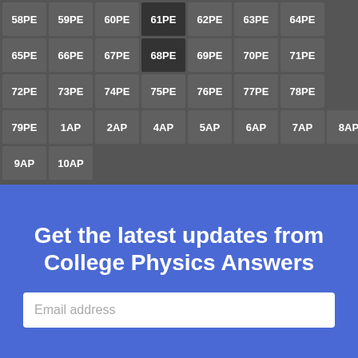[Figure (other): Grid of chapter/problem navigation buttons showing codes like 58PE through 10AP, arranged in rows, on a gray background. Buttons are dark gray squares with white bold text.]
Get the latest updates from College Physics Answers
Email address